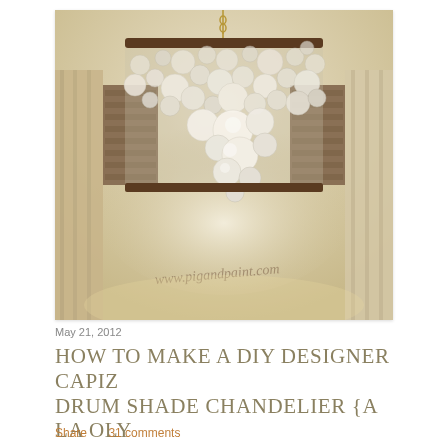[Figure (photo): A capiz drum shade chandelier hanging from a gold chain over a dining area. The drum shade is covered in overlapping circular capiz shell pieces of various sizes, suspended from a dark wood rim. Background shows linen curtains, roman shades, and a warm beige ceiling. Watermark reads www.pigandpaint.com]
May 21, 2012
HOW TO MAKE A DIY DESIGNER CAPIZ DRUM SHADE CHANDELIER {A LA OLY STUDIO SERENA}
Share    31 comments